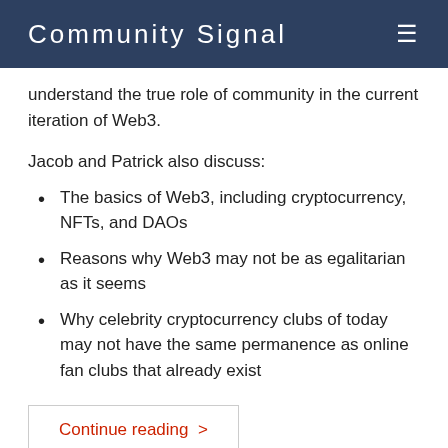Community Signal
understand the true role of community in the current iteration of Web3.
Jacob and Patrick also discuss:
The basics of Web3, including cryptocurrency, NFTs, and DAOs
Reasons why Web3 may not be as egalitarian as it seems
Why celebrity cryptocurrency clubs of today may not have the same permanence as online fan clubs that already exist
Continue reading >